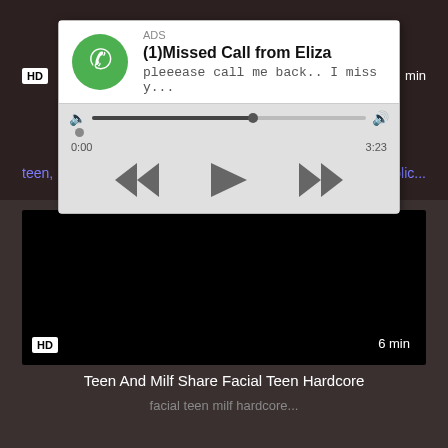[Figure (screenshot): Ad popup overlay showing a missed call notification styled as an audio player, with green phone icon, title '(1)Missed Call from Eliza', subtitle 'pleeease call me back.. I miss y...', progress bar, timestamps 0:00 and 3:23, and playback controls (rewind, play, forward). Below is a dark video thumbnail with HD badge and '6 min' label. Text below reads 'Teen And Milf Share Facial Teen Hardcore' and partial tags.]